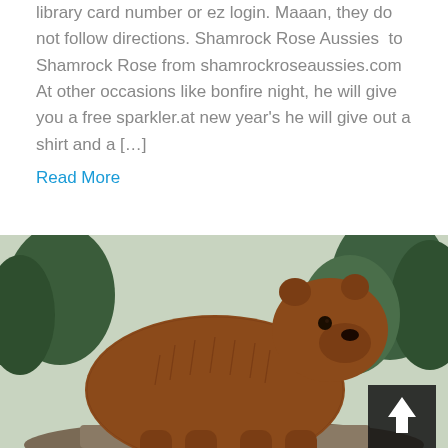library card number or ez login. Maaan, they do not follow directions. Shamrock Rose Aussies  to Shamrock Rose from shamrockroseaussies.com At other occasions like bonfire night, he will give you a free sparkler.at new year's he will give out a shirt and a […]
Read More
[Figure (photo): A large brown bear (grizzly) standing on a rock ledge, photographed in profile facing right, with green trees and foliage in the background. A dark back-to-top arrow button is visible in the lower-right corner of the image.]